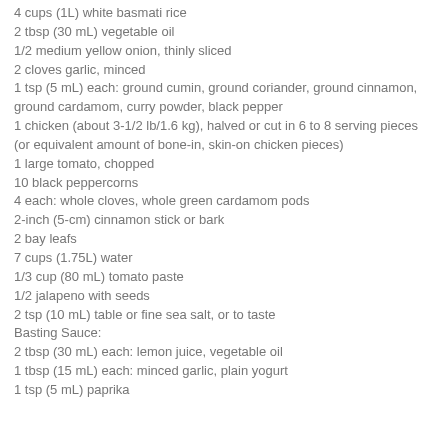4 cups (1L) white basmati rice
2 tbsp (30 mL) vegetable oil
1/2 medium yellow onion, thinly sliced
2 cloves garlic, minced
1 tsp (5 mL) each: ground cumin, ground coriander, ground cinnamon, ground cardamom, curry powder, black pepper
1 chicken (about 3-1/2 lb/1.6 kg), halved or cut in 6 to 8 serving pieces (or equivalent amount of bone-in, skin-on chicken pieces)
1 large tomato, chopped
10 black peppercorns
4 each: whole cloves, whole green cardamom pods
2-inch (5-cm) cinnamon stick or bark
2 bay leafs
7 cups (1.75L) water
1/3 cup (80 mL) tomato paste
1/2 jalapeno with seeds
2 tsp (10 mL) table or fine sea salt, or to taste
Basting Sauce:
2 tbsp (30 mL) each: lemon juice, vegetable oil
1 tbsp (15 mL) each: minced garlic, plain yogurt
1 tsp (5 mL) paprika